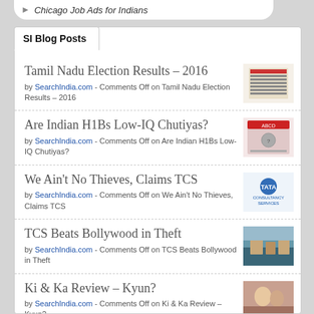Chicago Job Ads for Indians
SI Blog Posts
Tamil Nadu Election Results – 2016
by SearchIndia.com - Comments Off on Tamil Nadu Election Results – 2016
Are Indian H1Bs Low-IQ Chutiyas?
by SearchIndia.com - Comments Off on Are Indian H1Bs Low-IQ Chutiyas?
We Ain't No Thieves, Claims TCS
by SearchIndia.com - Comments Off on We Ain't No Thieves, Claims TCS
TCS Beats Bollywood in Theft
by SearchIndia.com - Comments Off on TCS Beats Bollywood in Theft
Ki & Ka Review – Kyun?
by SearchIndia.com - Comments Off on Ki & Ka Review – Kyun?
Eye in the Sky – Hopelessly Silly